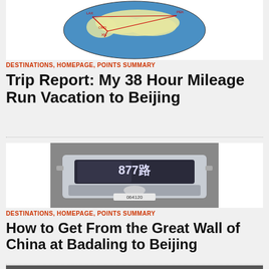[Figure (map): A globe/map showing flight routes between cities, with red lines connecting points including LAX, ORD, PEK, XN and other airports. The globe shows a polar projection with blue ocean and yellow/cream land masses.]
DESTINATIONS, HOMEPAGE, POINTS SUMMARY
Trip Report: My 38 Hour Mileage Run Vacation to Beijing
[Figure (photo): Front view of a bus with the number 877 displayed on it, with license plate 064120 visible. The bus is a modern coach-style vehicle photographed from the front in an urban street setting.]
DESTINATIONS, HOMEPAGE, POINTS SUMMARY
How to Get From the Great Wall of China at Badaling to Beijing
[Figure (photo): Partial view of what appears to be a train station or transit hub interior, partially cut off at the bottom of the page.]